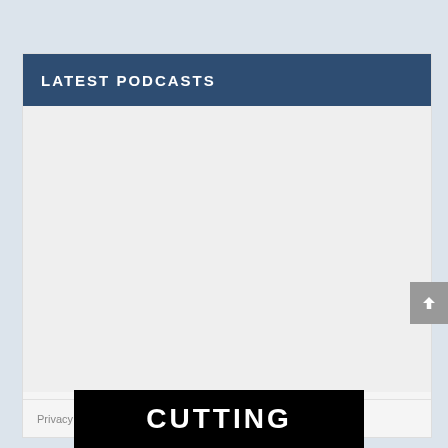LATEST PODCASTS
[Figure (screenshot): Empty content area / embedded widget placeholder with orange accent bar below header]
Privacy policy
[Figure (photo): Black banner image with white text reading CUTTING]